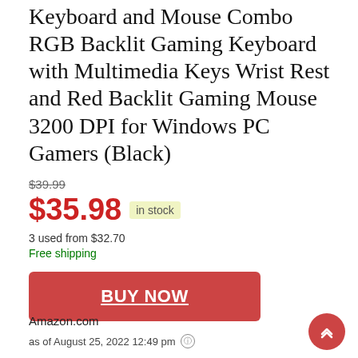Keyboard and Mouse Combo RGB Backlit Gaming Keyboard with Multimedia Keys Wrist Rest and Red Backlit Gaming Mouse 3200 DPI for Windows PC Gamers (Black)
$39.99
$35.98 in stock
3 used from $32.70
Free shipping
BUY NOW
Amazon.com
as of August 25, 2022 12:49 pm